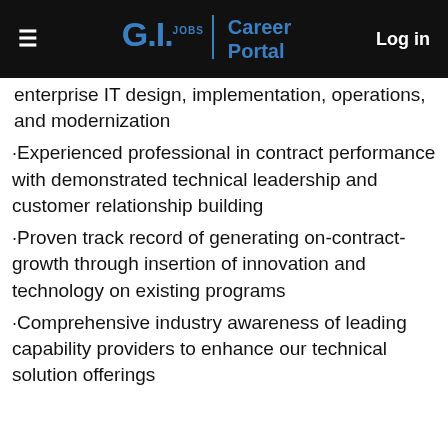G.I. Jobs | Career Portal  Log in
enterprise IT design, implementation, operations, and modernization
·Experienced professional in contract performance with demonstrated technical leadership and customer relationship building
·Proven track record of generating on-contract-growth through insertion of innovation and technology on existing programs
·Comprehensive industry awareness of leading capability providers to enhance our technical solution offerings